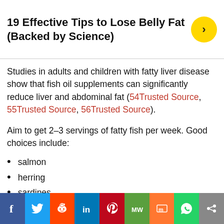19 Effective Tips to Lose Belly Fat (Backed by Science)
Studies in adults and children with fatty liver disease show that fish oil supplements can significantly reduce liver and abdominal fat (54Trusted Source, 55Trusted Source, 56Trusted Source).
Aim to get 2–3 servings of fatty fish per week. Good choices include:
salmon
herring
sardines
mackerel
anchovies